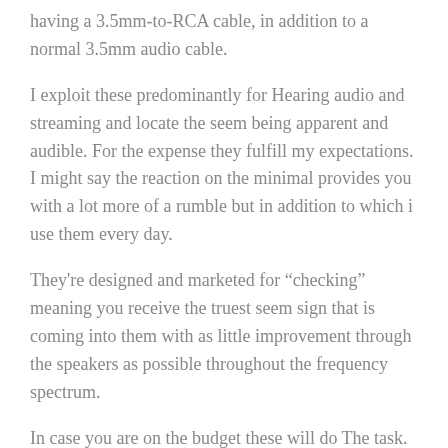having a 3.5mm-to-RCA cable, in addition to a normal 3.5mm audio cable.
I exploit these predominantly for Hearing audio and streaming and locate the seem being apparent and audible. For the expense they fulfill my expectations. I might say the reaction on the minimal provides you with a lot more of a rumble but in addition to which i use them every day.
They're designed and marketed for “checking” meaning you receive the truest seem sign that is coming into them with as little improvement through the speakers as possible throughout the frequency spectrum.
In case you are on the budget these will do The task. For that more time expression, you may need to take a position in a brand new